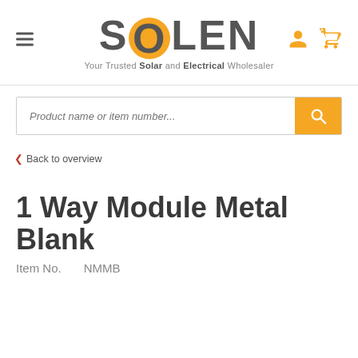[Figure (logo): SOLEN logo with orange circle O, tagline: Your Trusted Solar and Electrical Wholesaler, hamburger menu icon on left, user and cart icons on right]
Product name or item number...
‹ Back to overview
1 Way Module Metal Blank
Item No.    NMMB